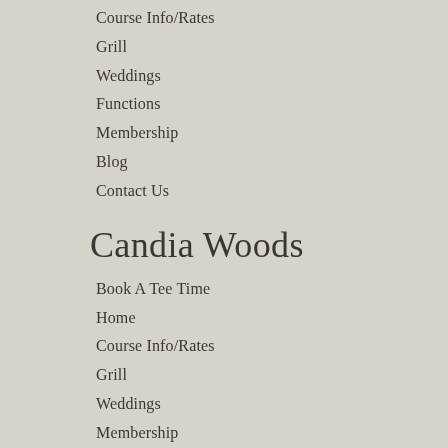Course Info/Rates
Grill
Weddings
Functions
Membership
Blog
Contact Us
Candia Woods
Book A Tee Time
Home
Course Info/Rates
Grill
Weddings
Membership
Blog
Contact Us
Social